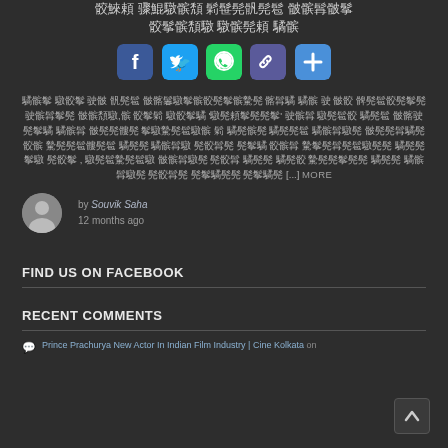Bengali text title (non-Latin script)
[Figure (other): Social share buttons: Facebook (blue), Twitter (light blue), WhatsApp (green), Link/Copy (dark blue), Plus/More (blue)]
Bengali article body text excerpt [...] MORE
by Souvik Saha
12 months ago
FIND US ON FACEBOOK
RECENT COMMENTS
Prince Prachurya New Actor In Indian Film Industry | Cine Kolkata on